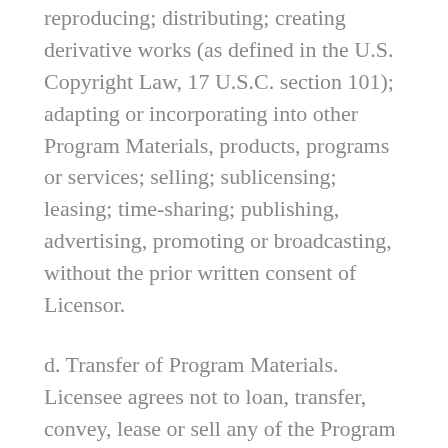reproducing; distributing; creating derivative works (as defined in the U.S. Copyright Law, 17 U.S.C. section 101); adapting or incorporating into other Program Materials, products, programs or services; selling; sublicensing; leasing; time-sharing; publishing, advertising, promoting or broadcasting, without the prior written consent of Licensor.
d. Transfer of Program Materials. Licensee agrees not to loan, transfer, convey, lease or sell any of the Program Materials to any third party without the prior written consent of Licensor.